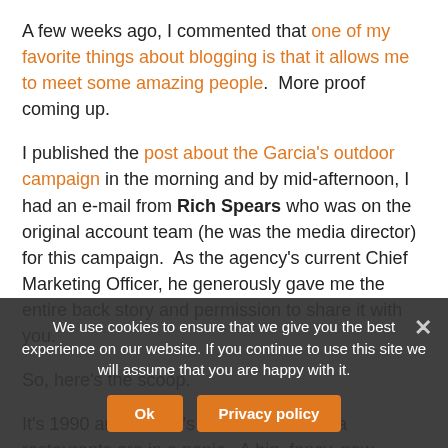A few weeks ago, I commented that one of my favorite things about blogging is that it allows me to meet some amazing people.  More proof coming up.
I published the post about the Garcia's outdoor campaign in the morning and by mid-afternoon, I had an e-mail from Rich Spears who was on the original account team (he was the media director) for this campaign.  As the agency's current Chief Marketing Officer, he generously gave me the entire back story and permission to share it with you.
So, here's the scoop.
It's 1990 and Garcia's and the other area restaurants are in a panic.  A big, fancy, new waterfront club was opening that summer and they were expecting it was going to mean they'd all (the existing restaurants) take a big hit.
So, restaurants were scrambling for a solution.  Oh yeah, and they only had $20,000 to spend on something covering creative/concept, design, production costs, media — whatever they were going to do.
We use cookies to ensure that we give you the best experience on our website. If you continue to use this site we will assume that you are happy with it.